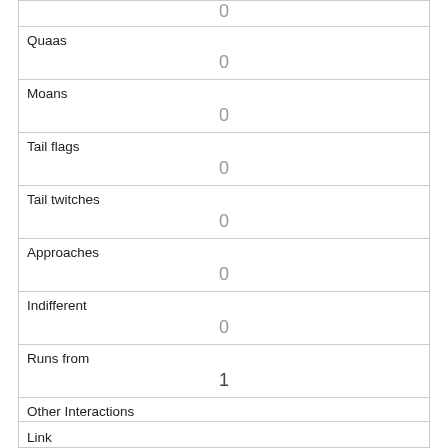| 0 (top partial) |
| Quaas | 0 |
| Moans | 0 |
| Tail flags | 0 |
| Tail twitches | 0 |
| Approaches | 0 |
| Indifferent | 0 |
| Runs from | 1 |
| Other Interactions |  |
| Lat/Long | POINT (-73.959070754026 40.7906675143413) |
| Link |